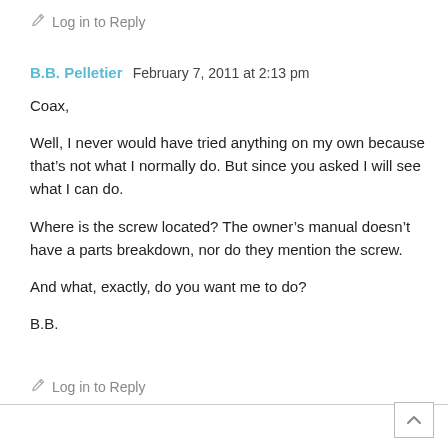✏ Log in to Reply
B.B. Pelletier   February 7, 2011 at 2:13 pm
Coax,
Well, I never would have tried anything on my own because that's not what I normally do. But since you asked I will see what I can do.
Where is the screw located? The owner's manual doesn't have a parts breakdown, nor do they mention the screw.
And what, exactly, do you want me to do?
B.B.
✏ Log in to Reply